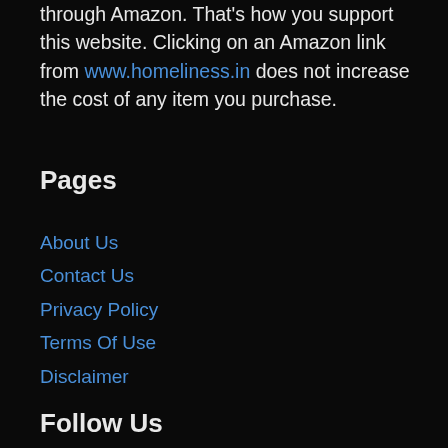through Amazon. That's how you support this website. Clicking on an Amazon link from www.homeliness.in does not increase the cost of any item you purchase.
Pages
About Us
Contact Us
Privacy Policy
Terms Of Use
Disclaimer
Follow Us